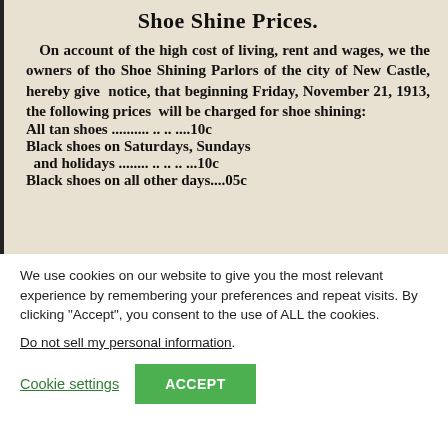Shoe Shine Prices.
On account of the high cost of living, rent and wages, we the owners of the Shoe Shining Parlors of the city of New Castle, hereby give notice, that beginning Friday, November 21, 1913, the following prices will be charged for shoe shining:
All tan shoes ........... .. .. ....10c
Black shoes on Saturdays, Sundays and holidays ........ .. .. .. ...10c
Black shoes on all other days....05c
We use cookies on our website to give you the most relevant experience by remembering your preferences and repeat visits. By clicking “Accept”, you consent to the use of ALL the cookies.
Do not sell my personal information.
Cookie settings  ACCEPT